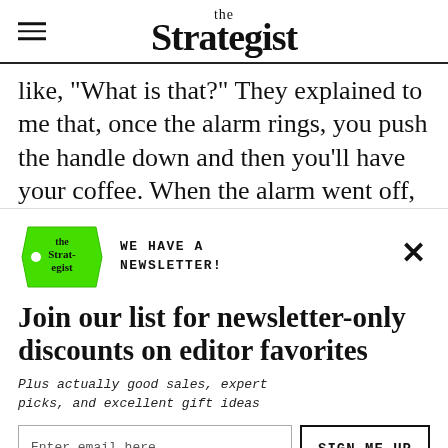the Strategist
like, "What is that?" They explained to me that, once the alarm rings, you push the handle down and then you'll have your coffee. When the alarm went off, I pushed the handle down, and I was like, "Holy
[Figure (infographic): Newsletter signup overlay with green price-tag logo reading 'the Strategist', colorful decorative shapes (magenta, green, cyan, orange), headline 'Join our list for newsletter-only discounts on editor favorites', subtext, email input, and SIGN ME UP button]
WE HAVE A NEWSLETTER!
Join our list for newsletter-only discounts on editor favorites
Plus actually good sales, expert picks, and excellent gift ideas
Enter email here
SIGN ME UP
NO THANKS